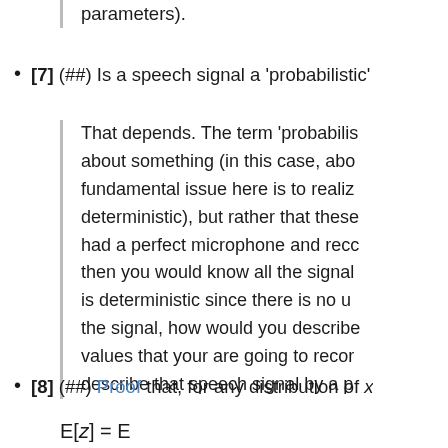[7] (##) Is a speech signal a 'probabilistic'...
That depends. The term 'probabilis... about something (in this case, abo... fundamental issue here is to realiz... deterministic), but rather that these... had a perfect microphone and reco... then you would know all the signal... is deterministic since there is no u... the signal, how would you describe... values that your are going to recor... describe that speech signal by a p...
[8] (##) Proof that, for any distribution of x